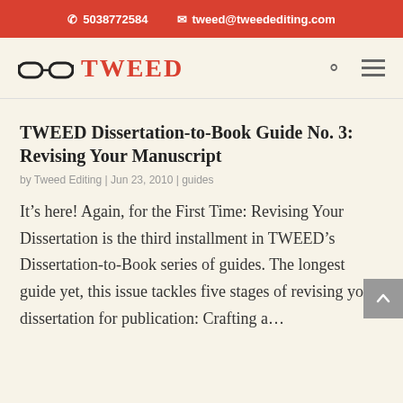5038772584  tweed@tweedediting.com
[Figure (logo): Tweed Editing logo with glasses icon and stylized TWEED text in red]
TWEED Dissertation-to-Book Guide No. 3: Revising Your Manuscript
by Tweed Editing | Jun 23, 2010 | guides
It’s here! Again, for the First Time: Revising Your Dissertation is the third installment in TWEED’s Dissertation-to-Book series of guides. The longest guide yet, this issue tackles five stages of revising your dissertation for publication: Crafting a…